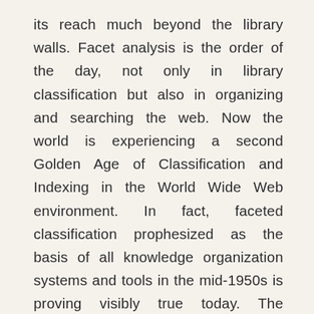its reach much beyond the library walls. Facet analysis is the order of the day, not only in library classification but also in organizing and searching the web. Now the world is experiencing a second Golden Age of Classification and Indexing in the World Wide Web environment. In fact, faceted classification prophesized as the basis of all knowledge organization systems and tools in the mid-1950s is proving visibly true today. The classification has bounced back with a vengeance. Late Eugene Garfield aptly said, 'Ranganathan is to library science what Einstein is to physics. This work presents a brief summary and importance of